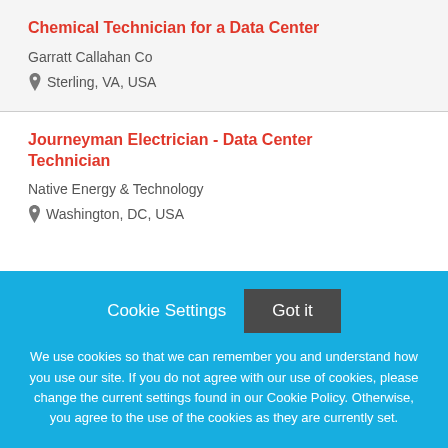Chemical Technician for a Data Center
Garratt Callahan Co
Sterling, VA, USA
Journeyman Electrician - Data Center Technician
Native Energy & Technology
Washington, DC, USA
Cookie Settings
Got it
We use cookies so that we can remember you and understand how you use our site. If you do not agree with our use of cookies, please change the current settings found in our Cookie Policy. Otherwise, you agree to the use of the cookies as they are currently set.